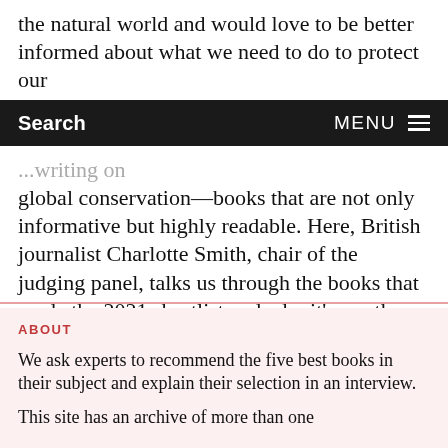the natural world and would love to be better informed about what we need to do to protect our
Search   MENU
...writing on global conservation—books that are not only informative but highly readable. Here, British journalist Charlotte Smith, chair of the judging panel, talks us through the books that made the 2021 shortlist and why it's worth reading all of them.
ABOUT
We ask experts to recommend the five best books in their subject and explain their selection in an interview.
This site has an archive of more than one